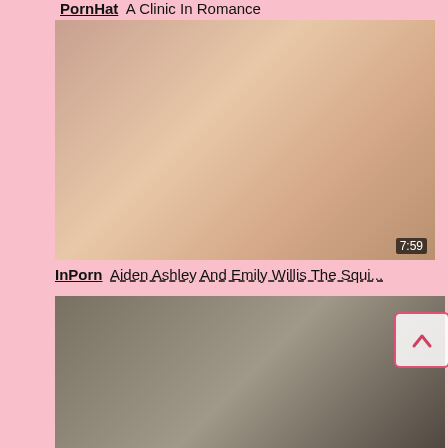PornHat  A Clinic In Romance
[Figure (photo): Video thumbnail showing two women, duration 7:59]
InPorn  Aiden Ashley And Emily Willis The Squi...
[Figure (photo): Video thumbnail showing two women facing each other]